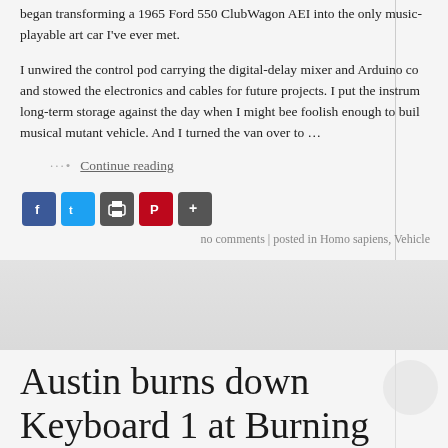began transforming a 1965 Ford 550 ClubWagon AEI into the only music playable art car I've ever met.
I unwired the control pod carrying the digital-delay mixer and Arduino co… and stowed the electronics and cables for future projects. I put the instrum… long-term storage against the day when I might bee foolish enough to buil… musical mutant vehicle. And I turned the van over to …
··• Continue reading
[Figure (infographic): Social sharing buttons: Facebook (blue), Twitter (light blue), Print (gray), Pinterest (red), More (gray with plus sign)]
no comments | posted in Homo sapiens, Vehicle
[Figure (photo): Faded gray decorative divider image with faint watermark-like background imagery]
Austin burns down Keyboard 1 at Burning